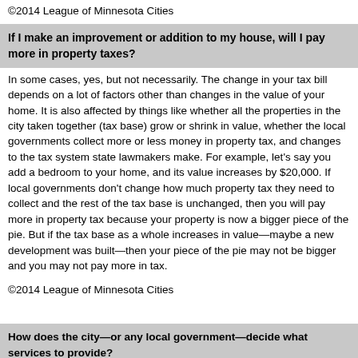©2014 League of Minnesota Cities
If I make an improvement or addition to my house, will I pay more in property taxes?
In some cases, yes, but not necessarily. The change in your tax bill depends on a lot of factors other than changes in the value of your home. It is also affected by things like whether all the properties in the city taken together (tax base) grow or shrink in value, whether the local governments collect more or less money in property tax, and changes to the tax system state lawmakers make. For example, let's say you add a bedroom to your home, and its value increases by $20,000. If local governments don't change how much property tax they need to collect and the rest of the tax base is unchanged, then you will pay more in property tax because your property is now a bigger piece of the pie. But if the tax base as a whole increases in value—maybe a new development was built—then your piece of the pie may not be bigger and you may not pay more in tax.
©2014 League of Minnesota Cities
How does the city—or any local government—decide what services to provide?
City councils review the services they currently provide and think about